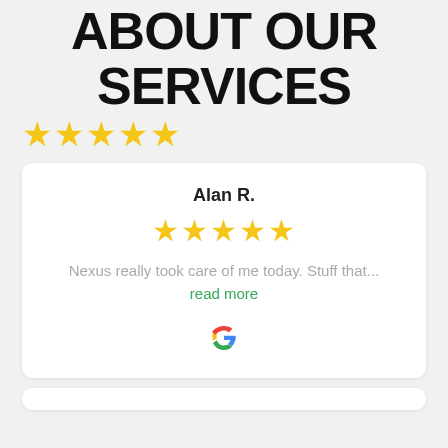ABOUT OUR SERVICES
[Figure (other): Five gold stars rating]
Alan R.
[Figure (other): Five gold stars rating in review card]
Nexus really took care of me today. Stuff that...
read more
[Figure (logo): Google G logo]